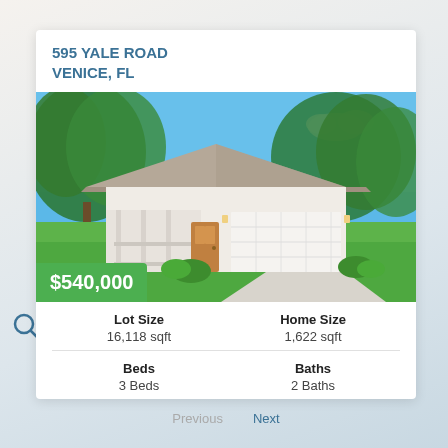595 YALE ROAD
VENICE, FL
[Figure (photo): Exterior photo of a single-story Florida home with hip roof, white garage door, front porch, green lawn, and tree-lined background under blue sky. Price badge: $540,000]
| Lot Size | Home Size |
| --- | --- |
| 16,118 sqft | 1,622 sqft |
| Beds | Baths |
| 3 Beds | 2 Baths |
Previous
Next